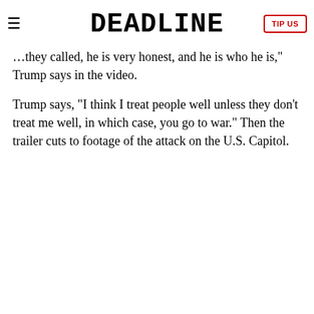DEADLINE
...they called, he is very honest, and he is who he is," Trump says in the video.
Trump says, “I think I treat people well unless they don’t treat me well, in which case, you go to war.” Then the trailer cuts to footage of the attack on the U.S. Capitol.